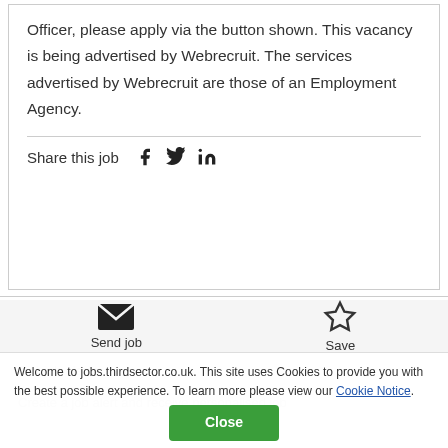Officer, please apply via the button shown. This vacancy is being advertised by Webrecruit. The services advertised by Webrecruit are those of an Employment Agency.
Share this job
[Figure (infographic): Send job icon (envelope) and Save icon (star) with labels]
Welcome to jobs.thirdsector.co.uk. This site uses Cookies to provide you with the best possible experience. To learn more please view our Cookie Notice.
Close
Get job alerts
Create a job alert and receive personalised job